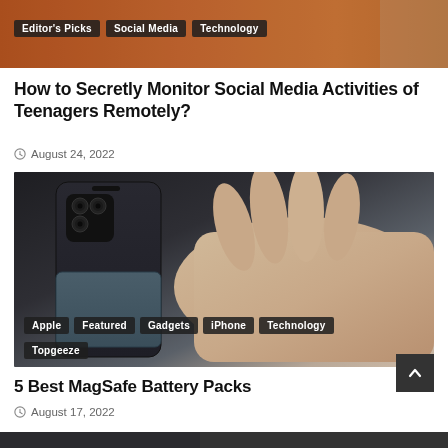[Figure (photo): Top partial image with orange/warm background, partially cropped]
Editor's Picks | Social Media | Technology
How to Secretly Monitor Social Media Activities of Teenagers Remotely?
August 24, 2022
[Figure (photo): Hand holding a smartphone (iPhone with MagSafe battery pack attached), dark background]
Apple | Featured | Gadgets | iPhone | Technology | Topgeeze
5 Best MagSafe Battery Packs
August 17, 2022
[Figure (photo): Bottom partial image, dark tones, partially cropped]